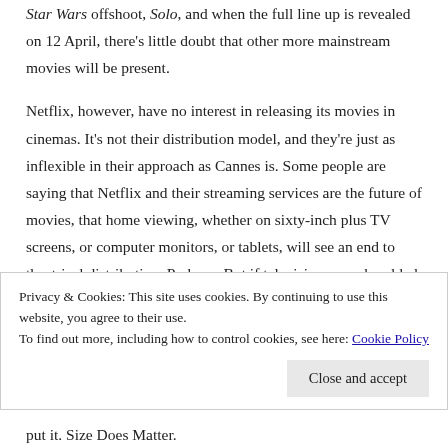Star Wars offshoot, Solo, and when the full line up is revealed on 12 April, there's little doubt that other more mainstream movies will be present.
Netflix, however, have no interest in releasing its movies in cinemas. It's not their distribution model, and they're just as inflexible in their approach as Cannes is. Some people are saying that Netflix and their streaming services are the future of movies, that home viewing, whether on sixty-inch plus TV screens, or computer monitors, or tablets, will see an end to theatrical distribution. Perhaps. But if television, once heralded as the inevitable cause of the demise of movie-going, hasn't done the job after all this time,
Privacy & Cookies: This site uses cookies. By continuing to use this website, you agree to their use.
To find out more, including how to control cookies, see here: Cookie Policy
put it. Size Does Matter.